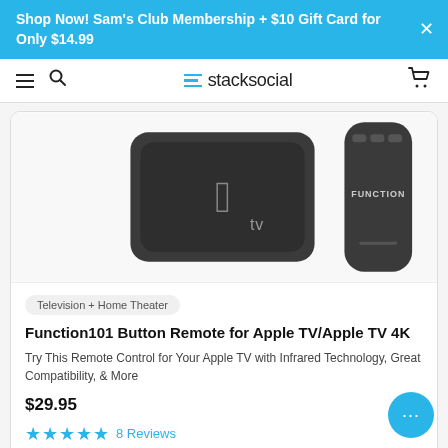Shop Now! Sam's Club Membership + $10 Gift Card for Only $14.99
stacksocial
[Figure (photo): Apple TV box and Function101 remote control on white background]
Television + Home Theater
Function101 Button Remote for Apple TV/Apple TV 4K
Try This Remote Control for Your Apple TV with Infrared Technology, Great Compatibility, & More
$29.95
8 Reviews